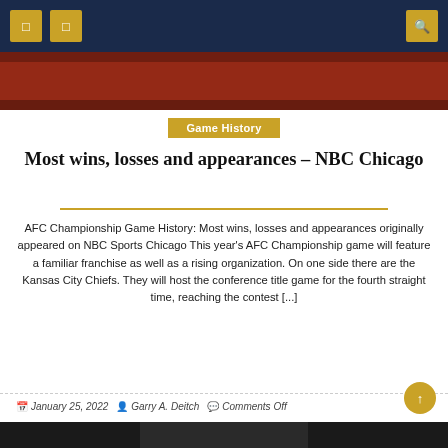Navigation bar with menu icons and search
[Figure (photo): Red-colored header image, partial sports photo]
Game History
Most wins, losses and appearances – NBC Chicago
AFC Championship Game History: Most wins, losses and appearances originally appeared on NBC Sports Chicago This year's AFC Championship game will feature a familiar franchise as well as a rising organization. On one side there are the Kansas City Chiefs. They will host the conference title game for the fourth straight time, reaching the contest [...]
January 25, 2022   Garry A. Deitch   Comments Off